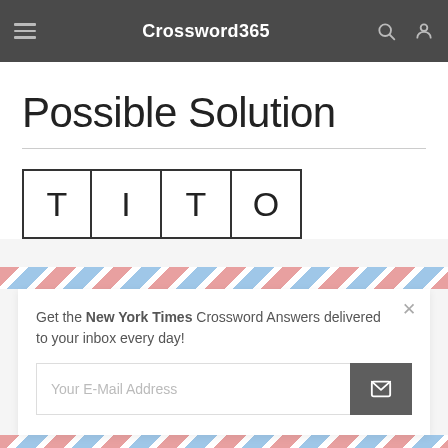Crossword365
Possible Solution
[Figure (other): Four letter boxes containing the letters T, I, T, O]
Get the New York Times Crossword Answers delivered to your inbox every day!